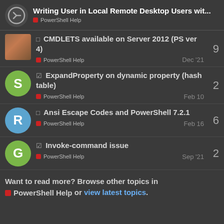Writing User in Local Remote Desktop Users wit... — PowerShell Help
CMDLETS available on Server 2012 (PS ver 4) — PowerShell Help — Dec '21 — 9 replies
ExpandProperty on dynamic property (hash table) — PowerShell Help — Feb 10 — 2 replies
Ansi Escape Codes and PowerShell 7.2.1 — PowerShell Help — Feb 16 — 6 replies
Invoke-command issue — PowerShell Help — Sep '21 — 2 replies
Want to read more? Browse other topics in PowerShell Help or view latest topics.